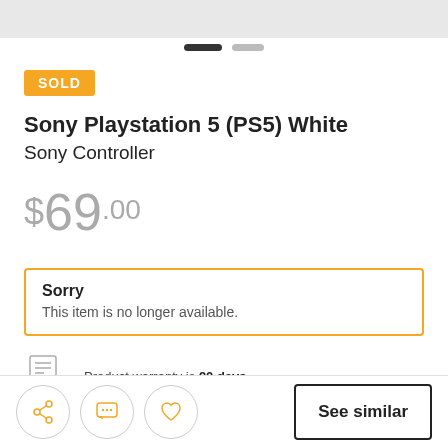[Figure (screenshot): Top navigation bar (cropped screenshot portion, gray background)]
SOLD
Sony Playstation 5 (PS5) White
Sony Controller
$69.00
Sorry
This item is no longer available.
Product warranty is 90 days.
See similar